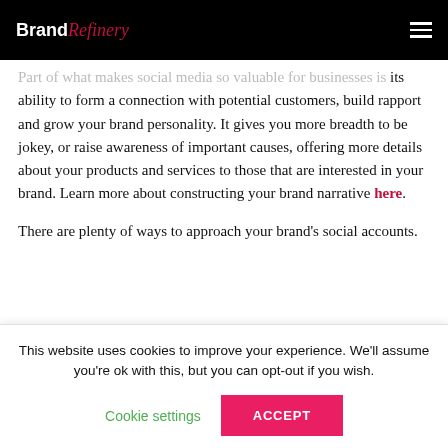Brand Refinery
Part of what makes social media so valuable for businesses is its ability to form a connection with potential customers, build rapport and grow your brand personality. It gives you more breadth to be jokey, or raise awareness of important causes, offering more details about your products and services to those that are interested in your brand. Learn more about constructing your brand narrative here.
There are plenty of ways to approach your brand's social accounts.
This website uses cookies to improve your experience. We'll assume you're ok with this, but you can opt-out if you wish.
Cookie settings  ACCEPT